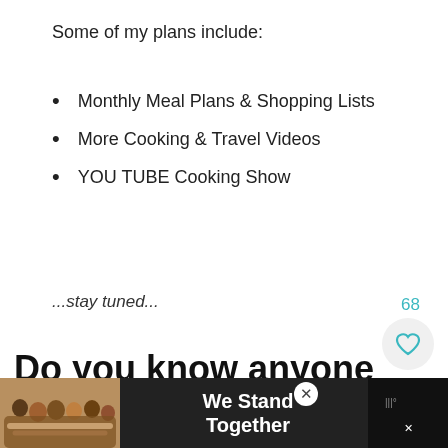Some of my plans include:
Monthly Meal Plans & Shopping Lists
More Cooking & Travel Videos
YOU TUBE Cooking Show
...stay tuned...
68
Do you know anyone else who likes learning about international food, culture, history and travel? Bring them
[Figure (screenshot): Advertisement bar at the bottom with a group photo of people hugging with text 'We Stand Together' and close/dismiss icons]